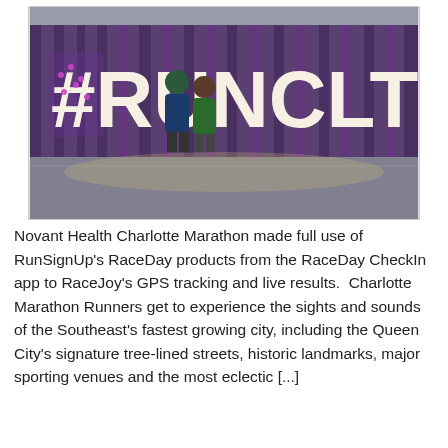[Figure (photo): Indoor event space with large illuminated letters spelling #RUNCLT against a purple draped backdrop. Two people stand in front of the letters on a reflective floor.]
Novant Health Charlotte Marathon made full use of RunSignUp's RaceDay products from the RaceDay CheckIn app to RaceJoy's GPS tracking and live results.  Charlotte Marathon Runners get to experience the sights and sounds of the Southeast's fastest growing city, including the Queen City's signature tree-lined streets, historic landmarks, major sporting venues and the most eclectic [...]